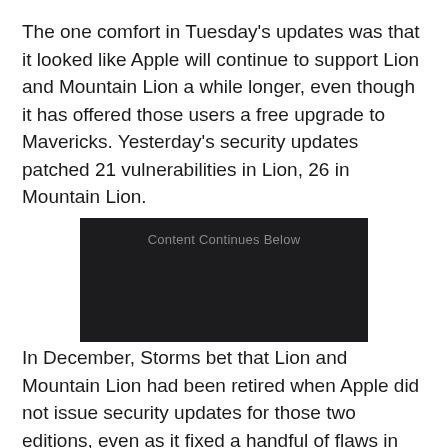The one comfort in Tuesday's updates was that it looked like Apple will continue to support Lion and Mountain Lion a while longer, even though it has offered those users a free upgrade to Mavericks. Yesterday's security updates patched 21 vulnerabilities in Lion, 26 in Mountain Lion.
[Figure (other): Dark advertisement placeholder box with text 'Content Continues Below']
In December, Storms bet that Lion and Mountain Lion had been retired when Apple did not issue security updates for those two editions, even as it fixed a handful of flaws in Mavericks. But he gave himself an out at the time, noting that Apple's